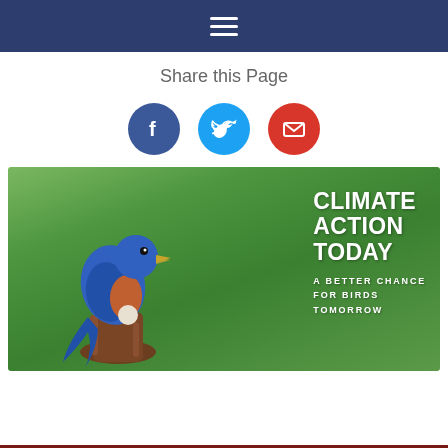Navigation menu (hamburger icon)
Share this Page
[Figure (infographic): Three social share buttons: Facebook (blue circle with f icon), Twitter (light blue circle with bird icon), Email (red circle with envelope icon)]
[Figure (photo): Eastern Bluebird perched on a stump with text overlay reading CLIMATE ACTION TODAY A BETTER CHANCE FOR BIRDS TOMORROW on a green background]